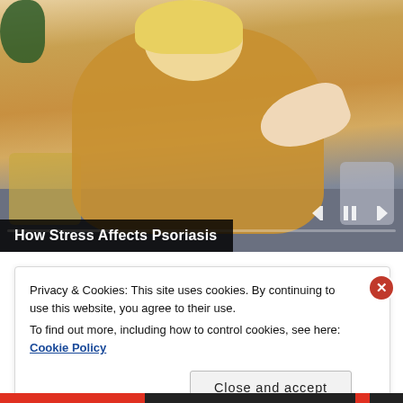[Figure (photo): Screenshot of a video player showing a woman in a yellow sweater sitting on a couch scratching her elbow, with video playback controls visible. The video is titled 'How Stress Affects Psoriasis'.]
How Stress Affects Psoriasis
Privacy & Cookies: This site uses cookies. By continuing to use this website, you agree to their use.
To find out more, including how to control cookies, see here: Cookie Policy
Close and accept